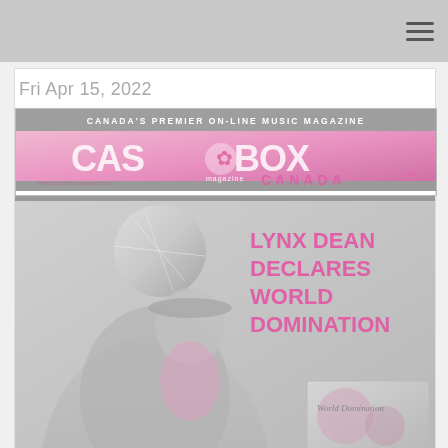Fri Apr 15, 2022
[Figure (logo): Cashbox Canada magazine logo banner — white text reading 'Canada's Premier On-Line Music Magazine' on grey bar above pink gradient with large stylized 'CASHBOX magazine CANADA™' logo]
[Figure (photo): Magazine cover image showing a person in a leopard print jacket holding a disco ball, with pink text reading 'LYNX DEAN DECLARES WORLD DOMINATION' and a small inset image in the bottom right corner]